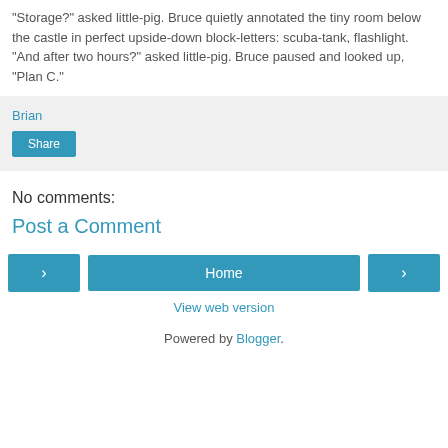"Storage?" asked little-pig. Bruce quietly annotated the tiny room below the castle in perfect upside-down block-letters: scuba-tank, flashlight. "And after two hours?" asked little-pig. Bruce paused and looked up, "Plan C."
Brian
Share
No comments:
Post a Comment
< Home >
View web version
Powered by Blogger.